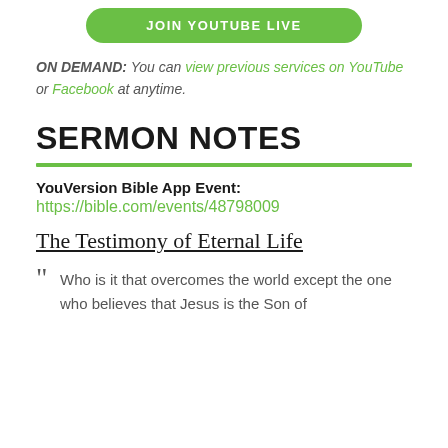[Figure (other): Green rounded button with text JOIN YOUTUBE LIVE]
ON DEMAND: You can view previous services on YouTube or Facebook at anytime.
SERMON NOTES
YouVersion Bible App Event:
https://bible.com/events/48798009
The Testimony of Eternal Life
" Who is it that overcomes the world except the one who believes that Jesus is the Son of